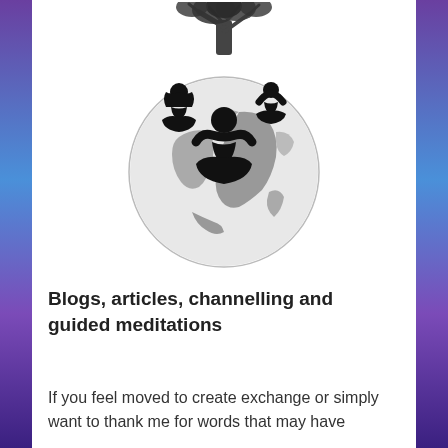[Figure (illustration): Illustration of a tree at the top with three silhouettes of people meditating in lotus position, sitting on top of a grey globe/Earth. The central figure is in the foreground on the globe, the other two flank the tree at the top. The globe shows grey continents (Africa, Europe visible).]
Blogs, articles, channelling and guided meditations
If you feel moved to create exchange or simply want to thank me for words that may have